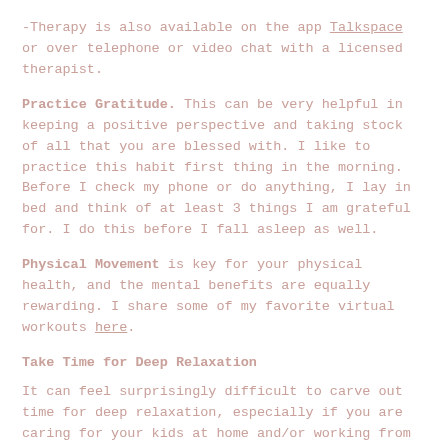-Therapy is also available on the app Talkspace or over telephone or video chat with a licensed therapist.
Practice Gratitude. This can be very helpful in keeping a positive perspective and taking stock of all that you are blessed with. I like to practice this habit first thing in the morning. Before I check my phone or do anything, I lay in bed and think of at least 3 things I am grateful for. I do this before I fall asleep as well.
Physical Movement is key for your physical health, and the mental benefits are equally rewarding. I share some of my favorite virtual workouts here.
Take Time for Deep Relaxation
It can feel surprisingly difficult to carve out time for deep relaxation, especially if you are caring for your kids at home and/or working from home; however, the metaphor of the parent putting on their oxygen mask first on the plane comes to mind - not because they are